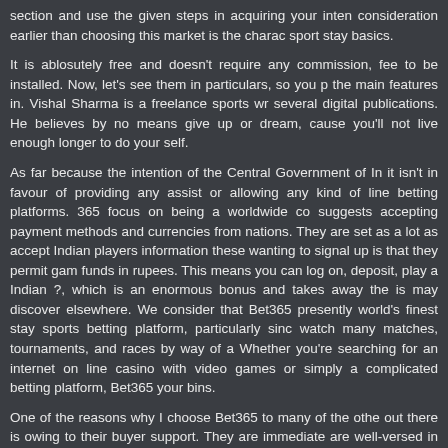section and use the given steps in acquiring your intention consideration earlier than choosing this market is the charac sport stay basics.
It is ablosutely free and doesn't require any commission, fee to be installed. Now, let's see them in particulars, so you p the main features in. Vishal Sharma is a freelance sports wr several digital publications. He believes by no means give up or dream, cause you'll not live enough longer to do your self.
As far because the intention of the Central Government of In it isn't in favour of providing any assist or allowing any kind of line betting platforms. 365 focus on being a worldwide co suggests accepting payment methods and currencies from nations. They are set as a lot as accept Indian players information these wanting to signal up is that they permit gam funds in rupees. This means you can log on, deposit, play a Indian ?, which is an enormous bonus and takes away the is may discover elsewhere. We consider that Bet365 presently world's finest stay sports betting platform, particularly sinc watch many matches, tournaments, and races by way of a Whether you're searching for an internet on line casino with video games or simply a complicated betting platform, Bet36 your bins.
One of the reasons why I choose Bet365 to many of the othe out there is owing to their buyer support. They are immediate are well-versed in solving any issues you could have. T optimised for the mobile screen and you can place your bets